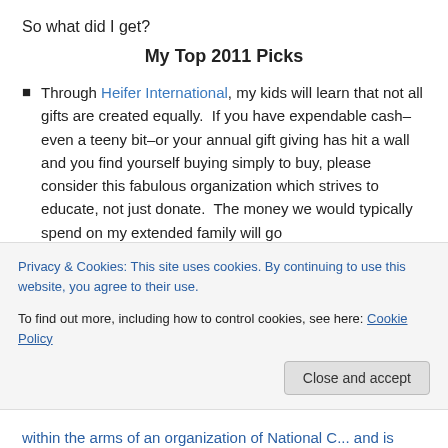So what did I get?
My Top 2011 Picks
Through Heifer International, my kids will learn that not all gifts are created equally.  If you have expendable cash–even a teeny bit–or your annual gift giving has hit a wall and you find yourself buying simply to buy, please consider this fabulous organization which strives to educate, not just donate.  The money we would typically spend on my extended family will go
Privacy & Cookies: This site uses cookies. By continuing to use this website, you agree to their use.
To find out more, including how to control cookies, see here: Cookie Policy
Close and accept
within the arms of an organization of National C... and is